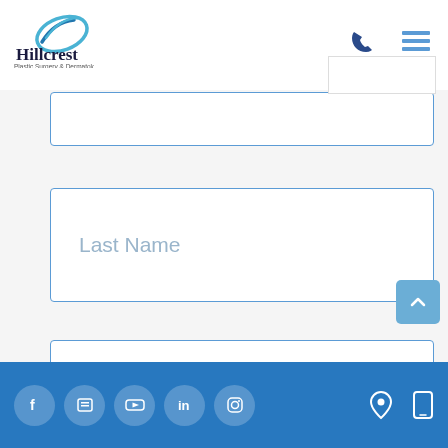[Figure (logo): Hillcrest Plastic Surgery & Dermatology logo with blue swoosh/flame icon]
Last Name
Email *
I'm not a robot
[Figure (infographic): Footer with social media icons (Facebook, Yelp, YouTube, LinkedIn, Instagram) and location/mobile icons on dark blue background]